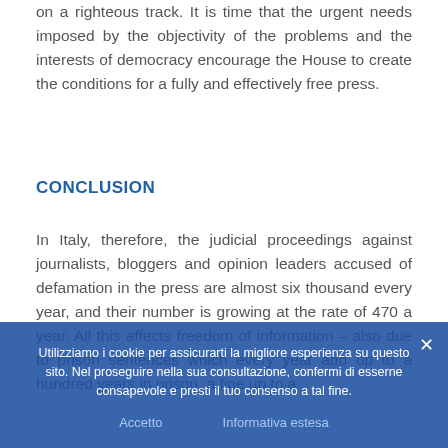on a righteous track. It is time that the urgent needs imposed by the objectivity of the problems and the interests of democracy encourage the House to create the conditions for a fully and effectively free press.
CONCLUSION
In Italy, therefore, the judicial proceedings against journalists, bloggers and opinion leaders accused of defamation in the press are almost six thousand every year, and their number is growing at the rate of 470 a year. All this affects freedom of information – also due to prison sentences which every year add up to a hundred years in prison, a fine up to a
Utilizziamo i cookie per assicurarti la migliore esperienza su questo sito. Nel proseguire nella sua consultazione, confermi di esserne consapevole e presti il tuo consenso a tal fine.